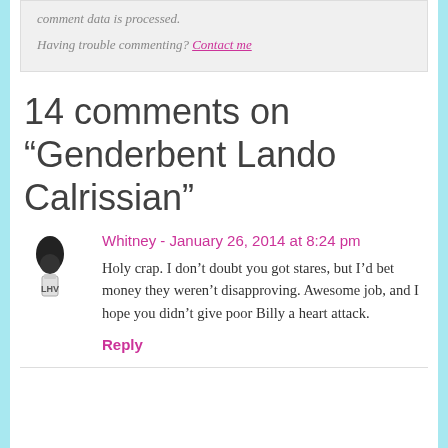comment data is processed.
Having trouble commenting? Contact me
14 comments on “Genderbent Lando Calrissian”
Whitney - January 26, 2014 at 8:24 pm
Holy crap. I don’t doubt you got stares, but I’d bet money they weren’t disapproving. Awesome job, and I hope you didn’t give poor Billy a heart attack.
Reply